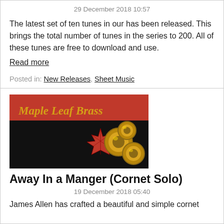29 December 2018 10:57
The latest set of ten tunes in our has been released. This brings the total number of tunes in the series to 200. All of these tunes are free to download and use.
Read more
Posted in: New Releases, Sheet Music
[Figure (illustration): Maple Leaf Brass logo — red banner with gold text 'Maple Leaf Brass', red maple leaf and gold brass instruments on black background]
Away In a Manger (Cornet Solo)
19 December 2018 05:40
James Allen has crafted a beautiful and simple cornet